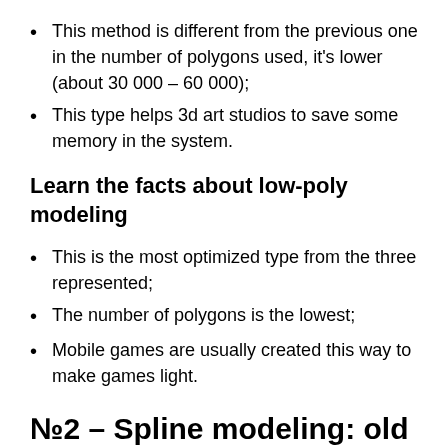This method is different from the previous one in the number of polygons used, it's lower (about 30 000 – 60 000);
This type helps 3d art studios to save some memory in the system.
Learn the facts about low-poly modeling
This is the most optimized type from the three represented;
The number of polygons is the lowest;
Mobile games are usually created this way to make games light.
№2 – Spline modeling: old but still used